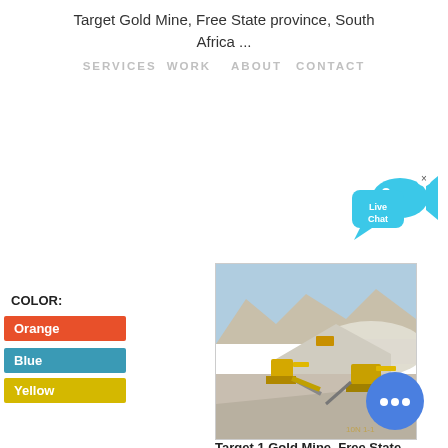Target Gold Mine, Free State province, South Africa ...
SERVICES   WORK   ABOUT   CONTACT
[Figure (other): Live Chat bubble widget in cyan/teal color with 'Live Chat' text and small fish icon, with an x close button]
COLOR:
Orange
Blue
Yellow
[Figure (photo): Photograph of a gold mine open pit with yellow mining machinery and large white ore piles against a mountainous backdrop under blue sky — Target 1 Gold Mine, Free State]
Target 1 Gold Mine, Free State
[Figure (other): Round blue chat button with three white dots (chat icon)]